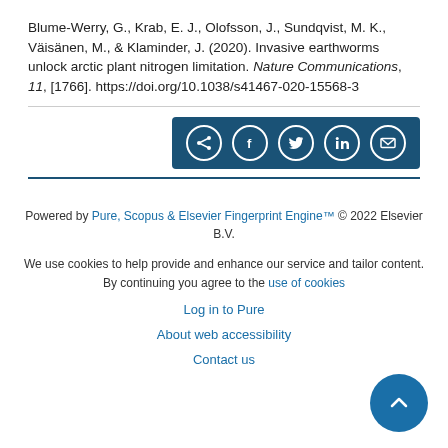Blume-Werry, G., Krab, E. J., Olofsson, J., Sundqvist, M. K., Väisänen, M., & Klaminder, J. (2020). Invasive earthworms unlock arctic plant nitrogen limitation. Nature Communications, 11, [1766]. https://doi.org/10.1038/s41467-020-15568-3
[Figure (other): Share bar with icons for share, Facebook, Twitter, LinkedIn, and email]
Powered by Pure, Scopus & Elsevier Fingerprint Engine™ © 2022 Elsevier B.V.
We use cookies to help provide and enhance our service and tailor content. By continuing you agree to the use of cookies
Log in to Pure
About web accessibility
Contact us